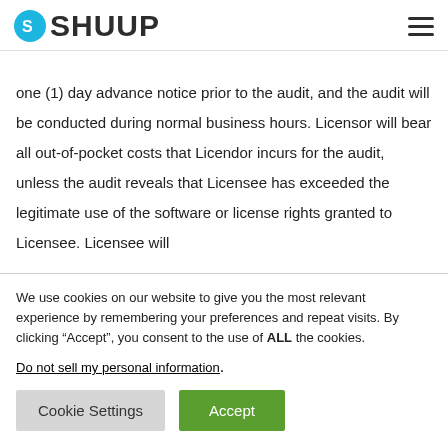SHUUP
one (1) day advance notice prior to the audit, and the audit will be conducted during normal business hours. Licensor will bear all out-of-pocket costs that Licendor incurs for the audit, unless the audit reveals that Licensee has exceeded the legitimate use of the software or license rights granted to Licensee. Licensee will
We use cookies on our website to give you the most relevant experience by remembering your preferences and repeat visits. By clicking “Accept”, you consent to the use of ALL the cookies.
Do not sell my personal information.